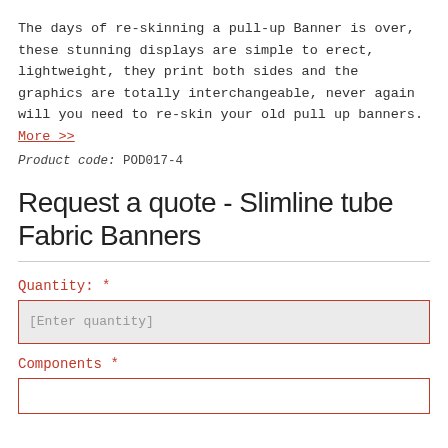The days of re-skinning a pull-up Banner is over, these stunning displays are simple to erect, lightweight, they print both sides and the graphics are totally interchangeable, never again will you need to re-skin your old pull up banners. More >>
Product code: POD017-4
Request a quote - Slimline tube Fabric Banners
Quantity: *
[Enter quantity]
Components *